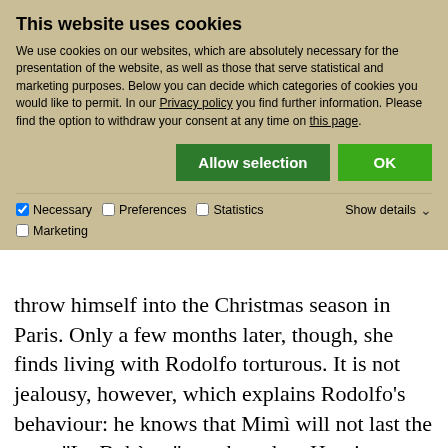This website uses cookies
We use cookies on our websites, which are absolutely necessary for the presentation of the website, as well as those that serve statistical and marketing purposes. Below you can decide which categories of cookies you would like to permit. In our Privacy policy you find further information. Please find the option to withdraw your consent at any time on this page.
Allow selection | OK
✓ Necessary   □ Preferences   □ Statistics   □ Marketing   Show details ∨
throw himself into the Christmas season in Paris. Only a few months later, though, she finds living with Rodolfo torturous. It is not jealousy, however, which explains Rodolfo's behaviour: he knows that Mimì will not last the year. "La Bohème" was based on Henri Murger's extremely successful novel "Les scènes de la vie de bohème", which had entranced Puccini when he first read it. His wish to set the tale to music was so strong that he even